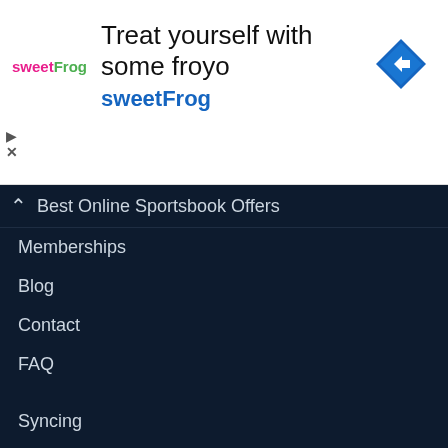[Figure (screenshot): Advertisement banner for sweetFrog frozen yogurt. Shows sweetFrog logo on the left, text 'Treat yourself with some froyo' and 'sweetFrog' in the middle, and a blue diamond-shaped navigation icon on the right. Ad controls (play and close) visible on the left edge.]
Membership Features
Best Online Sportsbook Offers
Memberships
Blog
Contact
FAQ
Syncing
Advertising
Privacy Policy
Disclaimer
Responsible Gambling Policy
Syndicate Content
RSS Feeds